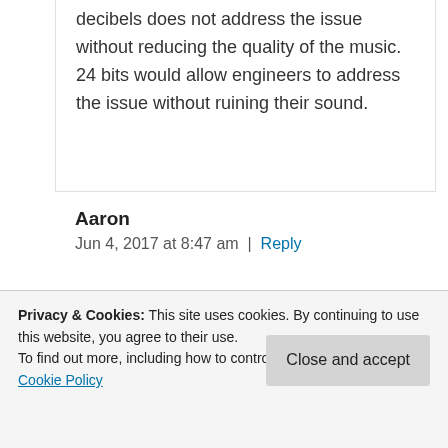decibels does not address the issue without reducing the quality of the music. 24 bits would allow engineers to address the issue without ruining their sound.
Aaron
Jun 4, 2017 at 8:47 am | Reply
Privacy & Cookies: This site uses cookies. By continuing to use this website, you agree to their use.
To find out more, including how to control cookies, see here: Cookie Policy
Close and accept
listening and reading, I think you're absolutely right. There was